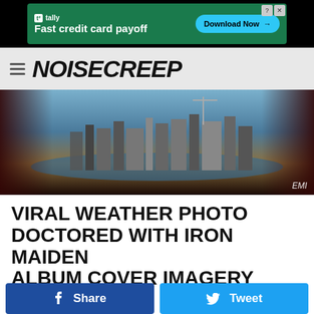[Figure (other): Tally advertisement banner: Fast credit card payoff, Download Now button]
NOISECREEP
[Figure (photo): Hero image of a dystopian city skyline with a river, dark atmospheric lighting with reddish dark borders. EMI label shown.]
VIRAL WEATHER PHOTO DOCTORED WITH IRON MAIDEN ALBUM COVER IMAGERY
Chad Childers
Published: December 22, 2021